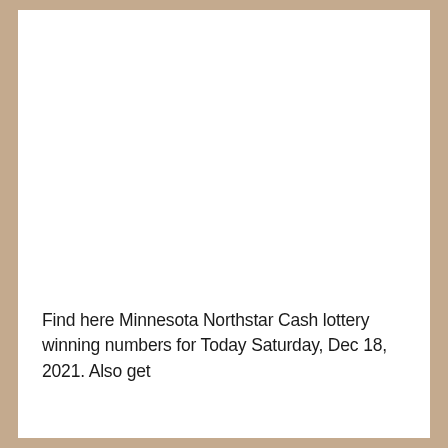Find here Minnesota Northstar Cash lottery winning numbers for Today Saturday, Dec 18, 2021. Also get